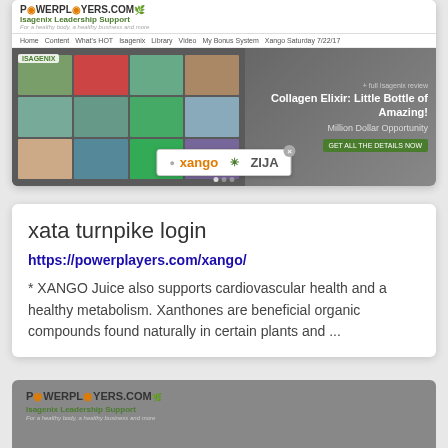[Figure (screenshot): Screenshot of powerplayers.com Isagenix Leadership Support website showing hero banner with Isagenix products, text 'Collagen Elixir: Little Bottle of Amazing! Million Dollar Opportunity', and a xango/zija popup overlay]
xata turnpike login
https://powerplayers.com/xango/
* XANGO Juice also supports cardiovascular health and a healthy metabolism. Xanthones are beneficial organic compounds found naturally in certain plants and ...
[Figure (screenshot): Screenshot of powerplayers.com showing POWERPLAYERS.COM logo and Isagenix Leadership Support tagline on dark background]